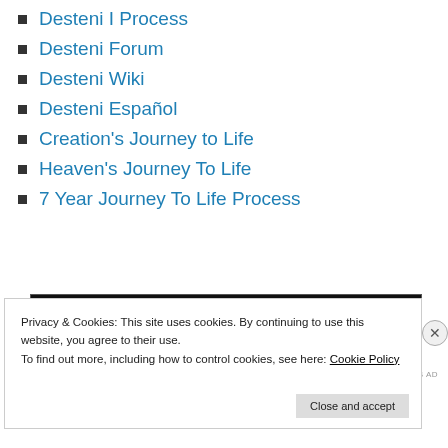Desteni I Process
Desteni Forum
Desteni Wiki
Desteni Español
Creation's Journey to Life
Heaven's Journey To Life
7 Year Journey To Life Process
[Figure (screenshot): Longreads advertisement banner with black background, showing the Longreads logo and tagline 'Read anything great lately?']
REPORT THIS AD
Privacy & Cookies: This site uses cookies. By continuing to use this website, you agree to their use.
To find out more, including how to control cookies, see here: Cookie Policy
Close and accept